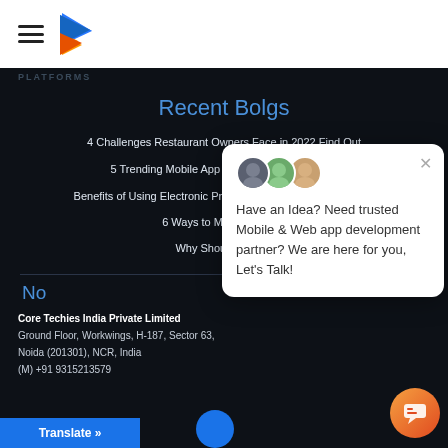PLATFORMS
Recent Bolgs
4 Challenges Restaurant Owners Face in 2022 Find Out
5 Trending Mobile App Ideas in 2022. Find Out
Benefits of Using Electronic Prescription Mobile Apps in 2022.
6 Ways to Maximize ASO
Why Should Restau...
No...
Core Techies India Private Limited
Ground Floor, Workwings, H-187, Sector 63,
Noida (201301), NCR, India
(M) +91 9315213579
[Figure (other): Popup chat widget with avatar images and text: Have an Idea? Need trusted Mobile & Web app development partner? We are here for you, Let's Talk!]
Translate »